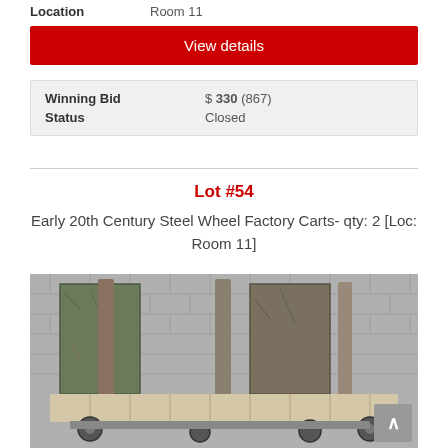Location   Room 11
View details
| Winning Bid | $ 330 (867) |
| Status | Closed |
Lot #54
Early 20th Century Steel Wheel Factory Carts- qty: 2 [Loc: Room 11]
[Figure (photo): Photo of two early 20th century steel wheel factory carts with wooden slat platforms, viewed from the front, against a concrete block wall background.]